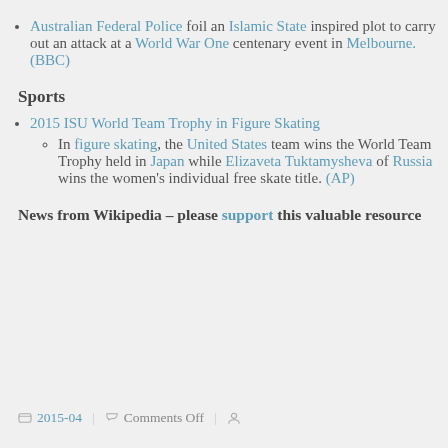Australian Federal Police foil an Islamic State inspired plot to carry out an attack at a World War One centenary event in Melbourne. (BBC)
Sports
2015 ISU World Team Trophy in Figure Skating
In figure skating, the United States team wins the World Team Trophy held in Japan while Elizaveta Tuktamysheva of Russia wins the women's individual free skate title. (AP)
News from Wikipedia – please support this valuable resource
2015-04   Comments Off